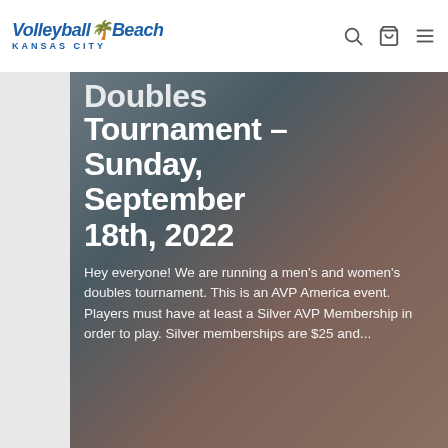Volleyball Beach Kansas City
Tournament – Sunday, September 18th, 2022
Hey everyone! We are running a men's and women's doubles tournament. This is an AVP America event. Players must have at least a Silver AVP Membership in order to play. Silver memberships are $25 and...